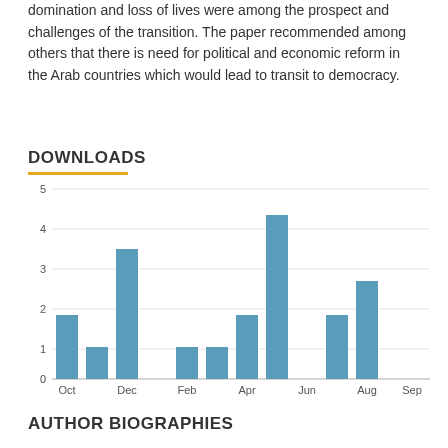domination and loss of lives were among the prospect and challenges of the transition. The paper recommended among others that there is need for political and economic reform in the Arab countries which would lead to transit to democracy.
DOWNLOADS
[Figure (bar-chart): Downloads]
AUTHOR BIOGRAPHIES